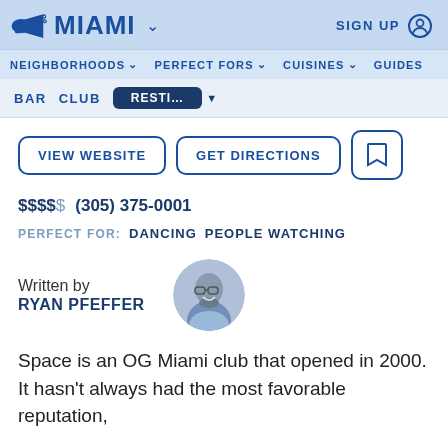MIAMI   SIGN UP
NEIGHBORHOODS  PERFECT FORS  CUISINES  GUIDES
BAR  CLUB  [tab bar with active item]
VIEW WEBSITE   GET DIRECTIONS   [bookmark icon]
$$$$  (305) 375-0001
PERFECT FOR:  DANCING  PEOPLE WATCHING
Written by
RYAN PFEFFER
[Figure (photo): Circular headshot of author Ryan Pfeffer, a man with glasses and a beard wearing a light blue shirt]
Space is an OG Miami club that opened in 2000. It hasn't always had the most favorable reputation,